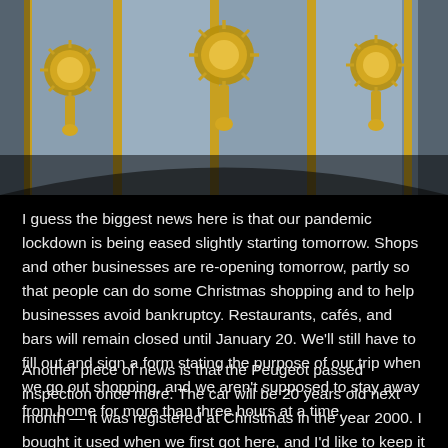[Figure (photo): Close-up photo of ornate golden architectural decorations on a building dome or facade, featuring large gilded floral/sunburst ornaments against blue-grey stone panels with gold trim borders, photographed from below against a blue sky]
I guess the biggest news here is that our pandemic lockdown is being eased slightly starting tomorrow. Shops and other businesses are re-opening tomorrow, partly so that people can do some Christmas shopping and to help businesses avoid bankruptcy. Restaurants, cafés, and bars will remain closed until January 20. We'll still have to fill out and sign a form stating the purpose of our trip when we go out shopping, and we aren't supposed to stay away from home for more than three hours at a time.
Another piece of news is that the Peugeot passed inspection once more. The car will be 20 years old next month — it was registered at Christmas in the year 2000. I bought it used when we first got here, and I'd like to keep it for another few years. It's fun to drive, and it's a great car for running around...